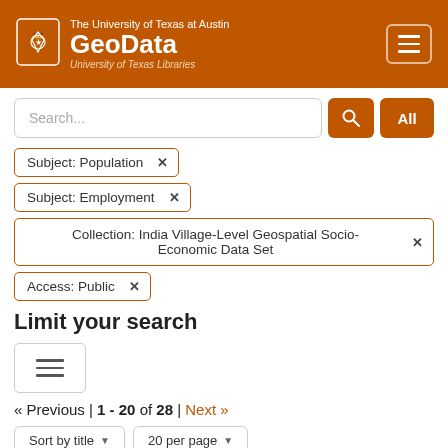The University of Texas at Austin GeoData University of Texas Libraries
Search...
Subject: Population ×
Subject: Employment ×
Collection: India Village-Level Geospatial Socio-Economic Data Set ×
Access: Public ×
Limit your search
« Previous | 1 - 20 of 28 | Next »
Sort by title ▼   20 per page ▼